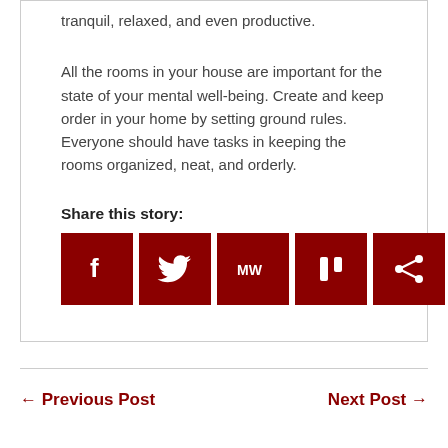tranquil, relaxed, and even productive.
All the rooms in your house are important for the state of your mental well-being. Create and keep order in your home by setting ground rules. Everyone should have tasks in keeping the rooms organized, neat, and orderly.
Share this story:
[Figure (other): Social share buttons: Facebook, Twitter, MW, a share icon, and a generic share icon — all red square buttons with white icons]
← Previous Post
Next Post →